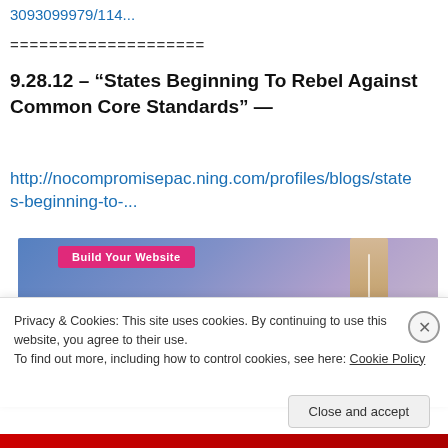3093099979/114...
====================
9.28.12 – “States Beginning To Rebel Against Common Core Standards” —
http://nocompromisepac.ning.com/profiles/blogs/states-beginning-to-...
[Figure (screenshot): Website screenshot showing a blue-to-purple gradient banner with a pink 'Build Your Website' button and a tan/beige rectangular element on the right side]
Privacy & Cookies: This site uses cookies. By continuing to use this website, you agree to their use.
To find out more, including how to control cookies, see here: Cookie Policy
Close and accept